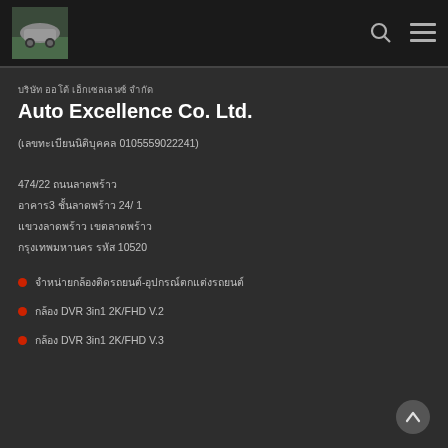[Figure (logo): Car logo with green background]
บริษัท ออโต้ เอ็กเซลเลนซ์ จำกัด
Auto Excellence Co. Ltd.
(เลขทะเบียนนิติบุคคล 0105559022241)
474/22 ถนนลาดพร้าว
อาคาร3 ชั้นลาดพร้าว 24/ 1
แขวงลาดพร้าว เขตลาดพร้าว
กรุงเทพมหานคร 10520 10520
จำหน่ายกล้องติดรถยนต์-อุปกรณ์ตกแต่งรถยนต์
กล้อง DVR 3in1 2K/FHD V.2
กล้อง DVR 3in1 2K/FHD V.3